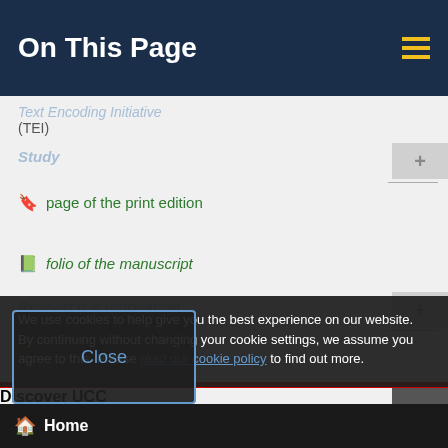On This Page
Text Encoding Initiative (TEI)
page of the print edition
Study
folio of the manuscript
Research & Innovation
numbered division
Discover UCC
Schools & Departments
Business & Enterprise
Alumni & Development
We use cookies to help give you the best experience on our website. By continuing without changing your cookie settings, we assume you agree to this. Please read our cookie policy to find out more.
Close
Home